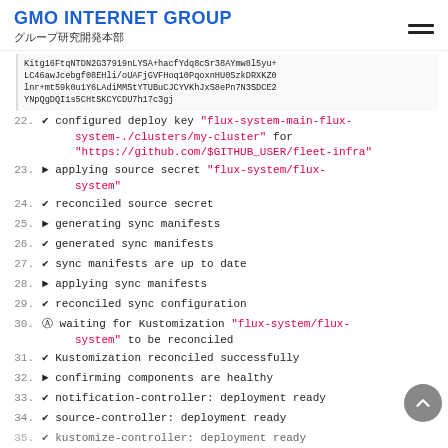GMO INTERNET GROUP グループ研究開発本部
Kitg16FtqNTDN2G37919nLYSA+hacfYdq8cSr38AYmw8l5yu+LC46awJcebgf08EHli/oUAFjGVFHoq10PqoxnHU0SzkDRXKZ0lnr+mt59k0u1Y6LAdiMMStYTUBuCJCYVKhJxS8ePn7N3SDCE2YNpQgDQI1s5CHtSKCYCDU7h17c3gj
22. ✔ configured deploy key "flux-system-main-flux-system-./clusters/my-cluster" for "https://github.com/$GITHUB_USER/fleet-infra"
23. ► applying source secret "flux-system/flux-system"
24. ✔ reconciled source secret
25. ► generating sync manifests
26. ✔ generated sync manifests
27. ✔ sync manifests are up to date
28. ► applying sync manifests
29. ✔ reconciled sync configuration
30. ◎ waiting for Kustomization "flux-system/flux-system" to be reconciled
31. ✔ Kustomization reconciled successfully
32. ► confirming components are healthy
33. ✔ notification-controller: deployment ready
34. ✔ source-controller: deployment ready
35. ✔ kustomize-controller: deployment ready